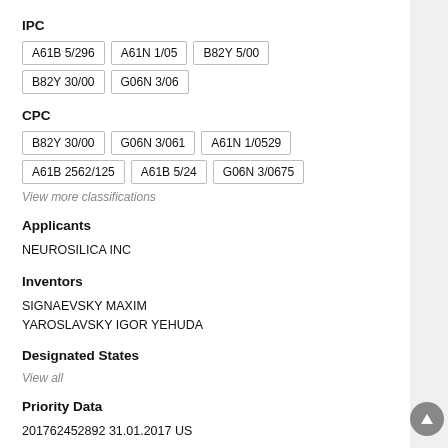IPC
A61B 5/296  A61N 1/05  B82Y 5/00  B82Y 30/00  G06N 3/06
CPC
B82Y 30/00  G06N 3/061  A61N 1/0529  A61B 2562/125  A61B 5/24  G06N 3/0675
View more classifications
Applicants
NEUROSILICA INC
Inventors
SIGNAEVSKY MAXIM
YAROSLAVSKY IGOR YEHUDA
Designated States
View all
Priority Data
201762452892 31.01.2017 US